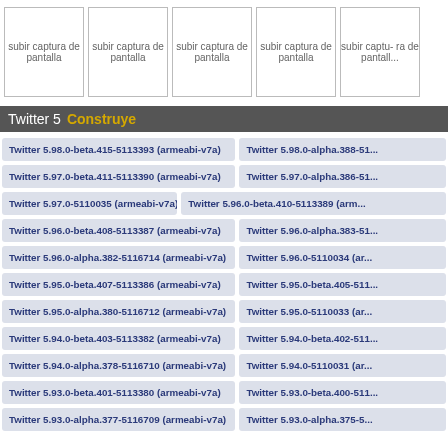[Figure (screenshot): Five placeholder boxes labeled 'subir captura de pantalla' arranged horizontally at the top of the page]
Twitter 5 Construye
Twitter 5.98.0-beta.415-5113393 (armeabi-v7a)
Twitter 5.98.0-alpha.388-51...
Twitter 5.97.0-beta.411-5113390 (armeabi-v7a)
Twitter 5.97.0-alpha.386-51...
Twitter 5.97.0-5110035 (armeabi-v7a)
Twitter 5.96.0-beta.410-5113389 (arm...
Twitter 5.96.0-beta.408-5113387 (armeabi-v7a)
Twitter 5.96.0-alpha.383-51...
Twitter 5.96.0-alpha.382-5116714 (armeabi-v7a)
Twitter 5.96.0-5110034 (ar...
Twitter 5.95.0-beta.407-5113386 (armeabi-v7a)
Twitter 5.95.0-beta.405-511...
Twitter 5.95.0-alpha.380-5116712 (armeabi-v7a)
Twitter 5.95.0-5110033 (ar...
Twitter 5.94.0-beta.403-5113382 (armeabi-v7a)
Twitter 5.94.0-beta.402-511...
Twitter 5.94.0-alpha.378-5116710 (armeabi-v7a)
Twitter 5.94.0-5110031 (ar...
Twitter 5.93.0-beta.401-5113380 (armeabi-v7a)
Twitter 5.93.0-beta.400-511...
Twitter 5.93.0-alpha.377-5116709 (armeabi-v7a)
Twitter 5.93.0-alpha.375-5...